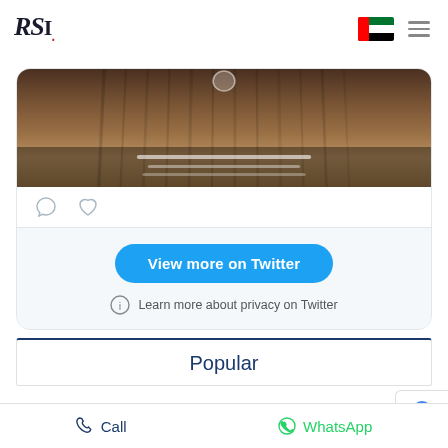RSI. [logo] | UAE flag | hamburger menu
[Figure (screenshot): Twitter embed card showing a tweet with a darkened image of a wood/rope scene with overlay text, plus comment and like icons below the image. Below the tweet content is a 'View more on Twitter' blue button and a 'Learn more about privacy on Twitter' info link.]
Popular
Call | WhatsApp